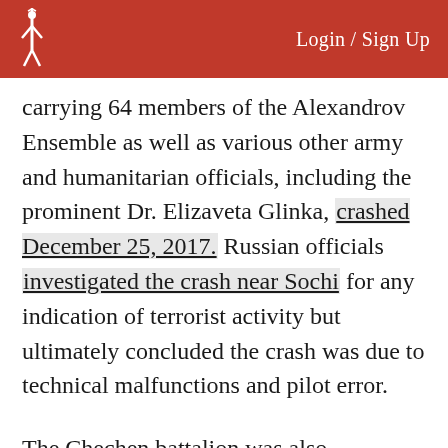Login / Sign Up
carrying 64 members of the Alexandrov Ensemble as well as various other army and humanitarian officials, including the prominent Dr. Elizaveta Glinka, crashed December 25, 2017. Russian officials investigated the crash near Sochi for any indication of terrorist activity but ultimately concluded the crash was due to technical malfunctions and pilot error.
The Chechen battalion was also